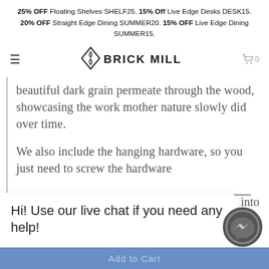25% OFF Floating Shelves SHELF25. 15% Off Live Edge Desks DESK15.
20% OFF Straight Edge Dining SUMMER20. 15% OFF Live Edge Dining SUMMER15.
[Figure (logo): Brick Mill logo with diamond shaped icon and bold text BRICK MILL]
beautiful dark grain permeate through the wood, showcasing the work mother nature slowly did over time.
We also include the hanging hardware, so you just need to screw the hardware [into]
Hi! Use our live chat if you need any help!
Add to Cart